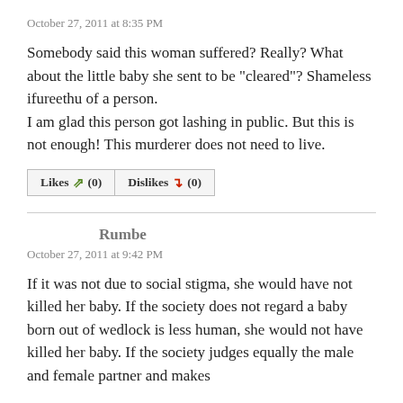October 27, 2011 at 8:35 PM
Somebody said this woman suffered? Really? What about the little baby she sent to be "cleared"? Shameless ifureethu of a person.
I am glad this person got lashing in public. But this is not enough! This murderer does not need to live.
[Figure (other): Like and Dislike buttons: Likes (thumbs up icon) (0) and Dislikes (thumbs down icon) (0)]
Rumbe
October 27, 2011 at 9:42 PM
If it was not due to social stigma, she would have not killed her baby. If the society does not regard a baby born out of wedlock is less human, she would not have killed her baby. If the society judges equally the male and female partner and makes